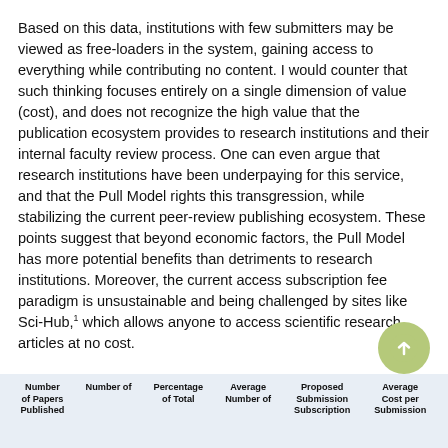Based on this data, institutions with few submitters may be viewed as free-loaders in the system, gaining access to everything while contributing no content. I would counter that such thinking focuses entirely on a single dimension of value (cost), and does not recognize the high value that the publication ecosystem provides to research institutions and their internal faculty review process. One can even argue that research institutions have been underpaying for this service, and that the Pull Model rights this transgression, while stabilizing the current peer-review publishing ecosystem. These points suggest that beyond economic factors, the Pull Model has more potential benefits than detriments to research institutions. Moreover, the current access subscription fee paradigm is unsustainable and being challenged by sites like Sci-Hub,1 which allows anyone to access scientific research articles at no cost.
| Number of Papers Published | Number of | Percentage of Total | Average Number of | Proposed Submission Subscription | Average Cost per Submission |
| --- | --- | --- | --- | --- | --- |